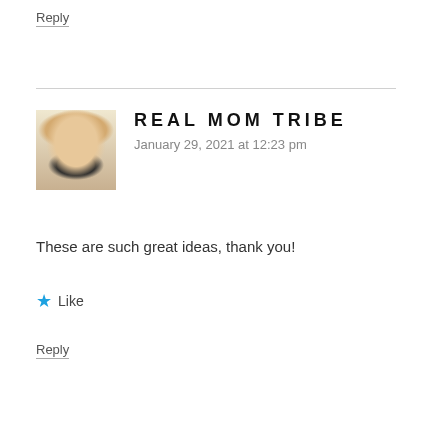Reply
[Figure (photo): Profile photo of a young blonde woman]
REAL MOM TRIBE
January 29, 2021 at 12:23 pm
These are such great ideas, thank you!
★ Like
Reply